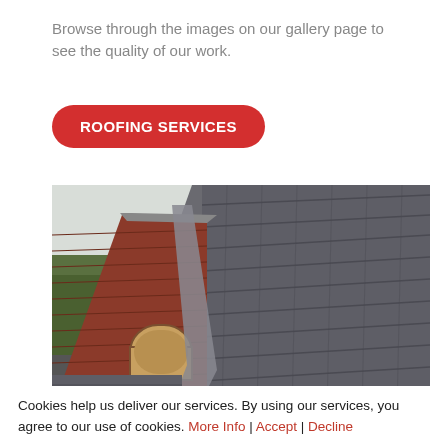Browse through the images on our gallery page to see the quality of our work.
ROOFING SERVICES
[Figure (photo): Photograph of a brick building with a dark slate/tile roof showing the ridge and valley detail, dormer window with arched top, and a metal valley flashing. Grey tiles cover the roof surfaces. Trees visible in the background on the left.]
Cookies help us deliver our services. By using our services, you agree to our use of cookies. More Info | Accept | Decline